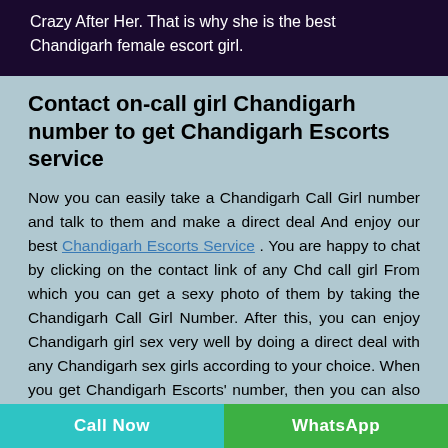Crazy After Her. That is why she is the best Chandigarh female escort girl.
Contact on-call girl Chandigarh number to get Chandigarh Escorts service
Now you can easily take a Chandigarh Call Girl number and talk to them and make a direct deal And enjoy our best Chandigarh Escorts Service . You are happy to chat by clicking on the contact link of any Chd call girl From which you can get a sexy photo of them by taking the Chandigarh Call Girl Number. After this, you can enjoy Chandigarh girl sex very well by doing a direct deal with any Chandigarh sex girls according to your choice. When you get Chandigarh Escorts' number, then you can also make friends with them. The nature of Chandigarh female escorts is very friendly and sociable.
These girls are generally to be had over phone and email,
Call Now   WhatsApp